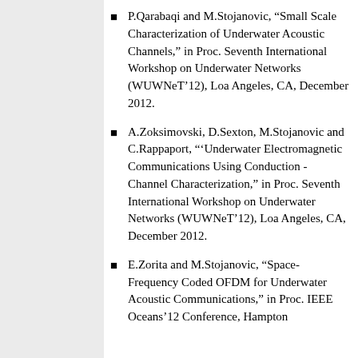P.Qarabaqi and M.Stojanovic, "Small Scale Characterization of Underwater Acoustic Channels," in Proc. Seventh International Workshop on Underwater Networks (WUWNeT'12), Loa Angeles, CA, December 2012.
A.Zoksimovski, D.Sexton, M.Stojanovic and C.Rappaport, "'Underwater Electromagnetic Communications Using Conduction - Channel Characterization," in Proc. Seventh International Workshop on Underwater Networks (WUWNeT'12), Loa Angeles, CA, December 2012.
E.Zorita and M.Stojanovic, "Space-Frequency Coded OFDM for Underwater Acoustic Communications," in Proc. IEEE Oceans'12 Conference, Hampton